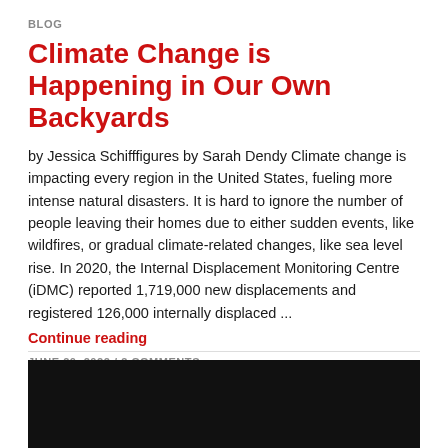BLOG
Climate Change is Happening in Our Own Backyards
by Jessica Schifffigures by Sarah Dendy Climate change is impacting every region in the United States, fueling more intense natural disasters. It is hard to ignore the number of people leaving their homes due to either sudden events, like wildfires, or gradual climate-related changes, like sea level rise. In 2020, the Internal Displacement Monitoring Centre (iDMC) reported 1,719,000 new displacements and registered 126,000 internally displaced ...
Continue reading
JUNE 20, 2022  /  3 COMMENTS
[Figure (photo): Black image/photo bar at bottom of page]